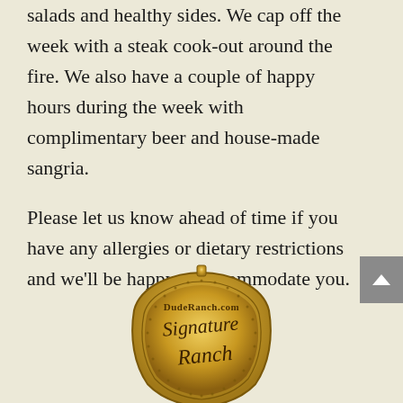salads and healthy sides. We cap off the week with a steak cook-out around the fire. We also have a couple of happy hours during the week with complimentary beer and house-made sangria.
Please let us know ahead of time if you have any allergies or dietary restrictions and we'll be happy to accommodate you.
[Figure (logo): DudeRanch.com Signature Ranch gold badge/seal]